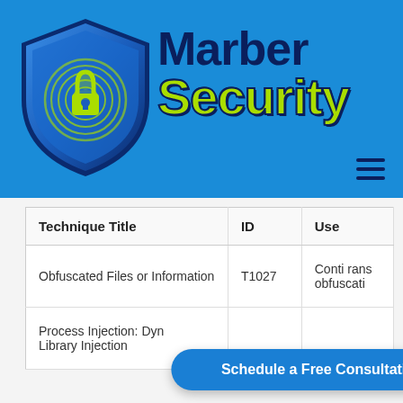[Figure (logo): Marber Security logo with shield containing fingerprint and padlock, with company name 'Marber Security' in dark blue and yellow-green on blue banner background]
| Technique Title | ID | Use |
| --- | --- | --- |
| Obfuscated Files or Information | T1027 | Conti rans obfuscati |
| Process Injection: Dynamic-link Library Injection |  |  |
Schedule a Free Consultation